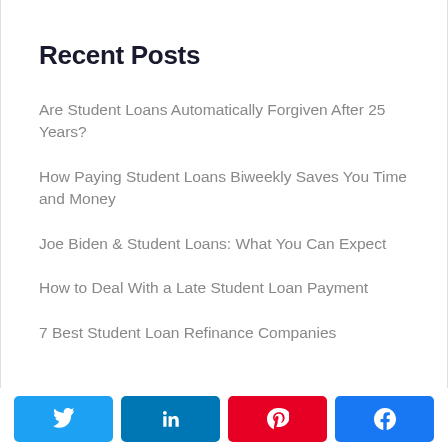Recent Posts
Are Student Loans Automatically Forgiven After 25 Years?
How Paying Student Loans Biweekly Saves You Time and Money
Joe Biden & Student Loans: What You Can Expect
How to Deal With a Late Student Loan Payment
7 Best Student Loan Refinance Companies